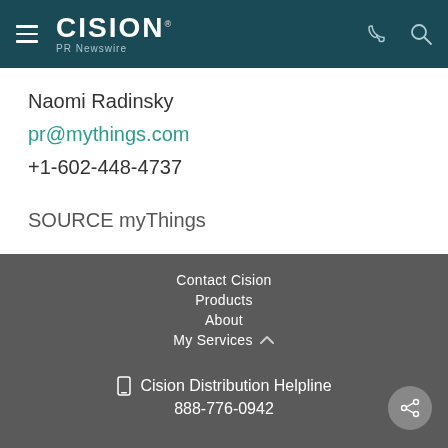[Figure (logo): Cision PR Newswire logo with hamburger menu, phone and search icons on dark teal header]
Naomi Radinsky
pr@mythings.com
+1-602-448-4737
SOURCE myThings
Contact Cision
Products
About
My Services
Cision Distribution Helpline
888-776-0942